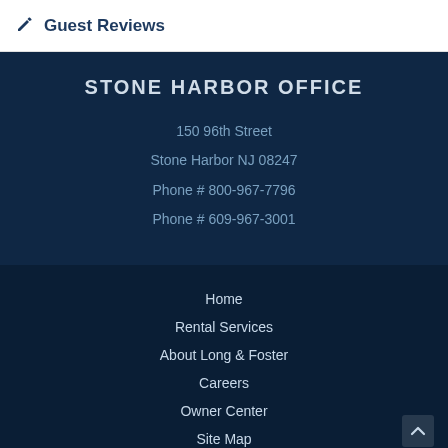Guest Reviews
STONE HARBOR OFFICE
150 96th Street
Stone Harbor NJ 08247
Phone # 800-967-7796
Phone # 609-967-3001
Home
Rental Services
About Long & Foster
Careers
Owner Center
Site Map
Privacy Policy